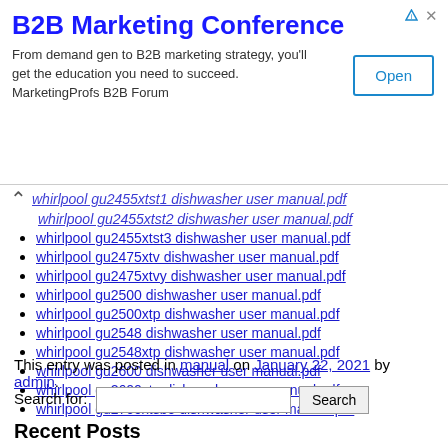[Figure (screenshot): B2B Marketing Conference advertisement banner with title, description text, and Open button]
whirlpool gu2455xtst1 dishwasher user manual.pdf (partial, top cut off)
whirlpool gu2455xtst2 dishwasher user manual.pdf
whirlpool gu2455xtst3 dishwasher user manual.pdf
whirlpool gu2475xtv dishwasher user manual.pdf
whirlpool gu2475xtvy dishwasher user manual.pdf
whirlpool gu2500 dishwasher user manual.pdf
whirlpool gu2500xtp dishwasher user manual.pdf
whirlpool gu2548 dishwasher user manual.pdf
whirlpool gu2548xtp dishwasher user manual.pdf
whirlpool gu2600 dishwasher user manual.pdf
whirlpool gu2600xtp dishwasher user manual.pdf
whirlpool gu2700xtsb0 dishwasher user manual.pdf
This entry was posted in manual on January 22, 2021 by admin.
Search for: [search box] Search
Recent Posts